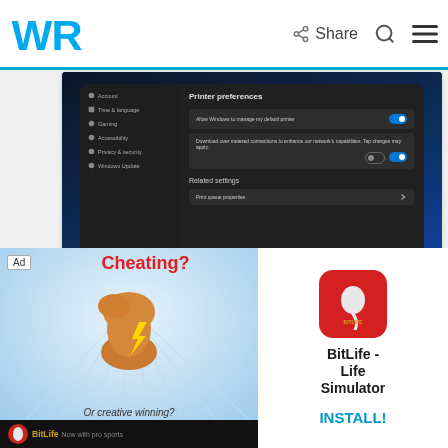WR | Share
[Figure (screenshot): Windows 11 Settings screenshot showing Printer preferences with toggle switches in dark mode UI]
How to Add a Wireless Printer to Windows 11
by Matthew Adams
How To
[Figure (screenshot): Windows 11 search results screenshot showing partial results]
[Figure (advertisement): BitLife ad showing Cheating? Or creative winning? with muscle emoji and BitLife logo. BitLife - Life Simulator app with INSTALL! button]